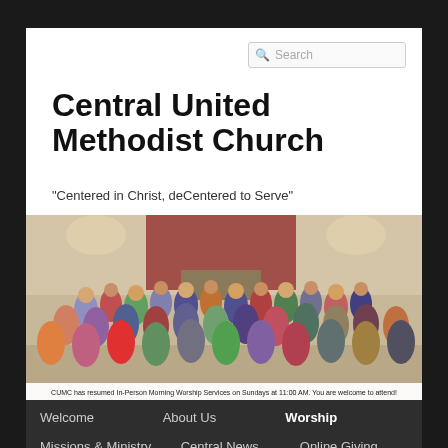[Figure (screenshot): Search box with magnifying glass icon and placeholder text 'Search']
Central United Methodist Church
"Centered in Christ, deCentered to Serve"
[Figure (photo): Group photo of a large congregation gathered inside a church sanctuary]
CUMC has resumed In-Person Morning Worship Services on Sundays at 11:00 AM.  You are welcome to attend!
Welcome
About Us
Worship
Missions & Ministry
Central News
Online Giving
Building Use Policies
Members Only